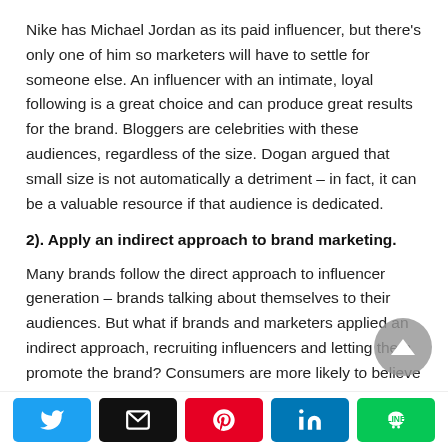Nike has Michael Jordan as its paid influencer, but there's only one of him so marketers will have to settle for someone else. An influencer with an intimate, loyal following is a great choice and can produce great results for the brand. Bloggers are celebrities with these audiences, regardless of the size. Dogan argued that small size is not automatically a detriment – in fact, it can be a valuable resource if that audience is dedicated.
2). Apply an indirect approach to brand marketing.
Many brands follow the direct approach to influencer generation – brands talking about themselves to their audiences. But what if brands and marketers applied an indirect approach, recruiting influencers and letting them promote the brand? Consumers are more likely to believe
Social share buttons: Twitter, Email, Pinterest, LinkedIn, Line